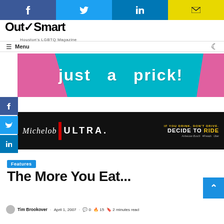Social share bar: Facebook, Twitter, LinkedIn, Email
[Figure (logo): OutSmart — Houston's LGBTQ Magazine logo]
Menu navigation bar with hamburger icon and moon/dark-mode icon
[Figure (photo): Advertisement banner: 'just a prick!' with pink hands on teal background]
[Figure (photo): Michelob ULTRA advertisement: 'If you drink, don't drive. Decide to ride.' with Anheuser-Busch and Uber logos]
Features
The More You Eat...
Tim Brookover · April 1, 2007 · 0 comments · 15 · 2 minutes read